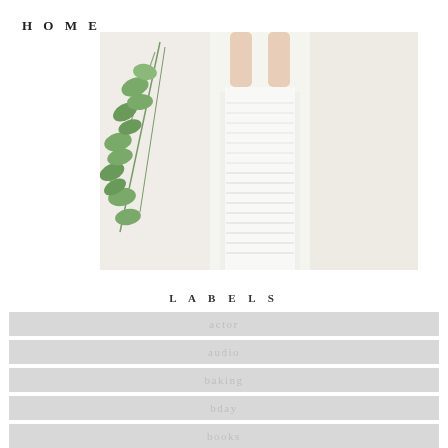HOME
[Figure (photo): A woman in a white lace dress with green eucalyptus leaves visible on the left side, cropped to show torso area against a light wall background.]
LABELS
actor
audio
baking
bday
books
christmas
cny
concert
cooking